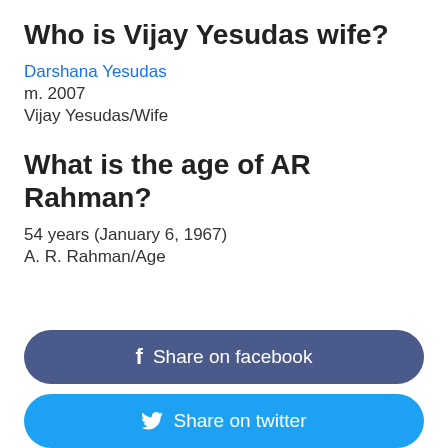Who is Vijay Yesudas wife?
Darshana Yesudas
m. 2007
Vijay Yesudas/Wife
What is the age of AR Rahman?
54 years (January 6, 1967)
A. R. Rahman/Age
f  Share on facebook
Share on twitter